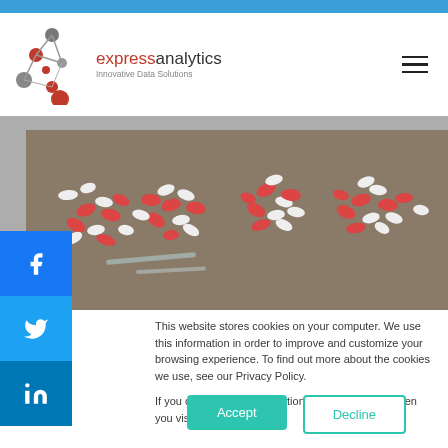[Figure (logo): Express Analytics logo with network node graphic and text 'expressanalytics Innovative Data Solutions']
[Figure (photo): Hero image showing red and white pills/capsules arranged in clusters on a light surface, viewed from above]
[Figure (infographic): Social media share buttons: Facebook (blue), Twitter (light blue), LinkedIn (dark blue) on left sidebar]
This website stores cookies on your computer. We use this information in order to improve and customize your browsing experience. To find out more about the cookies we use, see our Privacy Policy.

If you decline, your information won't be tracked when you visit this website.
Accept
Decline